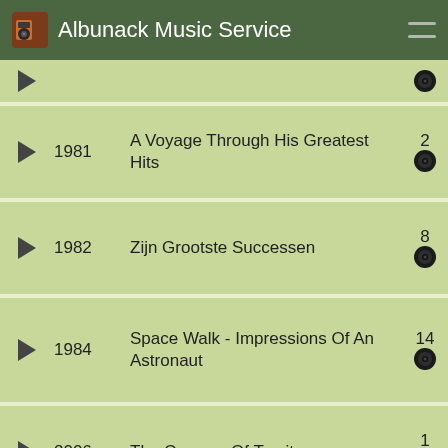Albunack Music Service
(partial row — top clipped)
1981 — A Voyage Through His Greatest Hits — 2
1982 — Zijn Grootste Successen — 8
1984 — Space Walk - Impressions Of An Astronaut — 14
2006 — The Cosmos Of Tomita — 1
Snowflakes Are Dancing / Firebird — 1
Album Soundtrack
|  | Year | Title | Count | Linked | Possible links for 0 | Additional |
| --- | --- | --- | --- | --- | --- | --- |
| ▶ | 1989 | （Japanese characters） | 1 | Linked to 1 | Possible links for 0 | Additional |